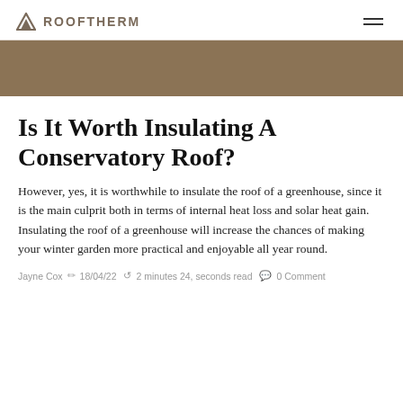ROOFTHERM
[Figure (other): Dark brownish-taupe hero banner image strip]
Is It Worth Insulating A Conservatory Roof?
However, yes, it is worthwhile to insulate the roof of a greenhouse, since it is the main culprit both in terms of internal heat loss and solar heat gain. Insulating the roof of a greenhouse will increase the chances of making your winter garden more practical and enjoyable all year round.
Jayne Cox  18/04/22  2 minutes 24, seconds read  0 Comment